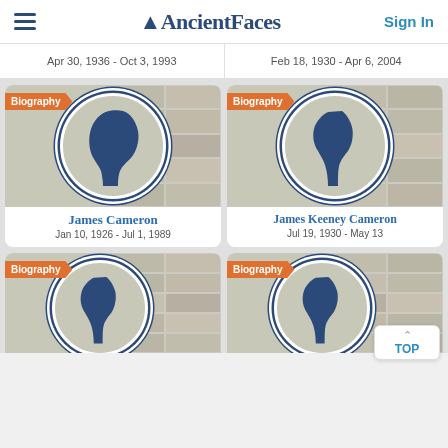AncientFaces   Sign In
Apr 30, 1936 - Oct 3, 1993
Feb 18, 1930 - Apr 6, 2004
[Figure (illustration): AncientFaces biography profile card with silhouette and mosaic background for James Cameron]
James Cameron
Jan 10, 1926 - Jul 1, 1989
[Figure (illustration): AncientFaces biography profile card with silhouette and mosaic background for James Keeney Cameron]
James Keeney Cameron
Jul 19, 1930 - May 13
[Figure (illustration): AncientFaces biography profile card with silhouette and mosaic background (partial, bottom left)]
[Figure (illustration): AncientFaces biography profile card with silhouette and mosaic background (partial, bottom right)]